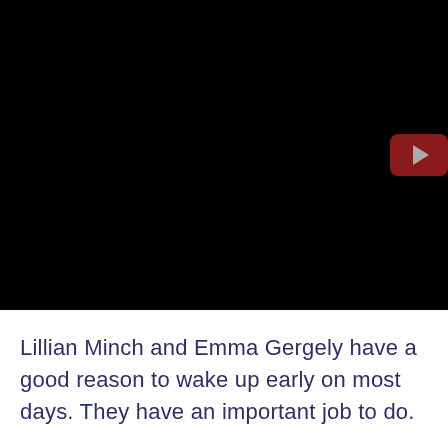[Figure (screenshot): A dark/black video thumbnail with a YouTube play button in the upper right corner. The video area is entirely black with a dark red rounded rectangle play button visible at the top-right edge.]
Lillian Minch and Emma Gergely have a good reason to wake up early on most days. They have an important job to do.